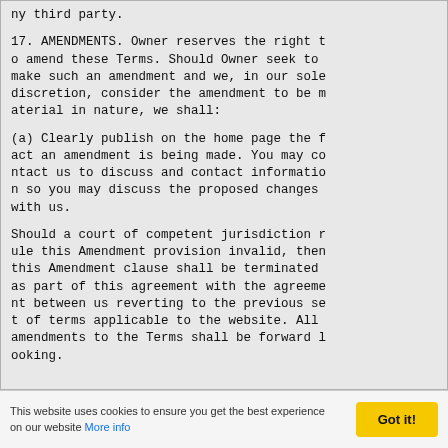ny third party.
17. AMENDMENTS. Owner reserves the right to amend these Terms. Should Owner seek to make such an amendment and we, in our sole discretion, consider the amendment to be material in nature, we shall:
(a) Clearly publish on the home page the fact an amendment is being made. You may contact us to discuss and contact information so you may discuss the proposed changes with us.
Should a court of competent jurisdiction rule this Amendment provision invalid, then this Amendment clause shall be terminated as part of this agreement with the agreement between us reverting to the previous set of terms applicable to the website. All amendments to the Terms shall be forward looking.
This website uses cookies to ensure you get the best experience on our website More info